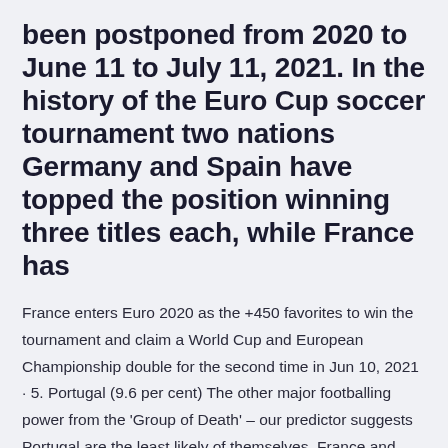been postponed from 2020 to June 11 to July 11, 2021. In the history of the Euro Cup soccer tournament two nations Germany and Spain have topped the position winning three titles each, while France has
France enters Euro 2020 as the +450 favorites to win the tournament and claim a World Cup and European Championship double for the second time in Jun 10, 2021 · 5. Portugal (9.6 per cent) The other major footballing power from the 'Group of Death' – our predictor suggests Portugal are the least likely of themselves, France and Germany to win Euro 2020